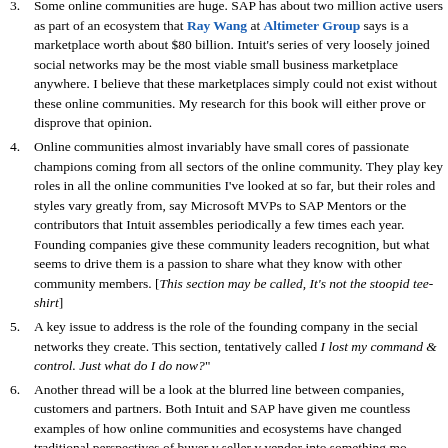3. Some online communities are huge. SAP has about two million active users as part of an ecosystem that Ray Wang at Altimeter Group says is a marketplace worth about $80 billion. Intuit's series of very loosely joined social networks may be the most viable small business marketplace anywhere. I believe that these marketplaces simply could not exist without these online communities. My research for this book will either prove or disprove that opinion.
4. Online communities almost invariably have small cores of passionate champions coming from all sectors of the online community. They play key roles in all the online communities I've looked at so far, but their roles and styles vary greatly from, say Microsoft MVPs to SAP Mentors or the contributors that Intuit assembles periodically a few times each year. Founding companies give these community leaders recognition, but what seems to drive them is a passion to share what they know with other community members. [This section may be called, It's not the stoopid tee-shirt]
5. A key issue to address is the role of the founding company in the social networks they create. This section, tentatively called I lost my command & control. Just what do I do now?"
6. Another thread will be a look at the blurred line between companies, customers and partners. Both Intuit and SAP have given me countless examples of how online communities and ecosystems have changed traditional perspectives of buyer v seller v vendor into something m...